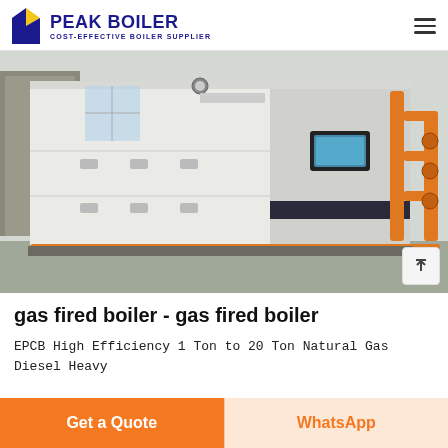PEAK BOILER - COST-EFFECTIVE BOILER SUPPLIER
[Figure (photo): Large white gas-fired industrial boiler unit installed indoors with orange/yellow gas pipes and fittings visible on the right side. Background shows an industrial boiler room with concrete floor.]
gas fired boiler - gas fired boiler
EPCB High Efficiency 1 Ton to 20 Ton Natural Gas Diesel Heavy
Get a Quote | WhatsApp